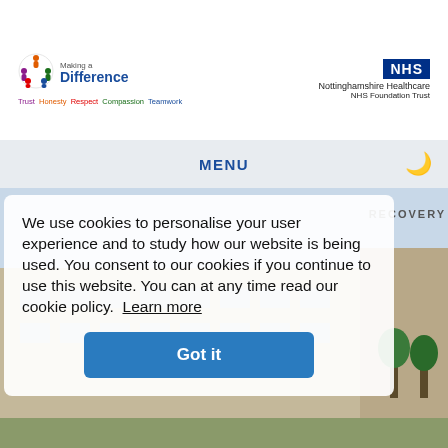[Figure (logo): Making a Difference logo with colourful circular icon, Trust Honesty Respect Compassion Teamwork tagline]
[Figure (logo): NHS Nottinghamshire Healthcare NHS Foundation Trust logo]
MENU
[Figure (photo): Building exterior photo, partially visible behind cookie consent modal]
RECOVERY
We use cookies to personalise your user experience and to study how our website is being used. You consent to our cookies if you continue to use this website. You can at any time read our cookie policy.  Learn more
Got it